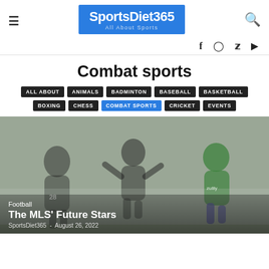SportsDiet365 – All About Sports
Combat sports
ALL ABOUT | ANIMALS | BADMINTON | BASEBALL | BASKETBALL | BOXING | CHESS | COMBAT SPORTS | CRICKET | EVENTS
[Figure (photo): Soccer/football players running on field, overlaid image with misty background]
Football – The MLS' Future Stars – SportsDiet365 – August 26, 2022